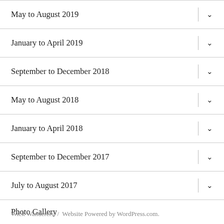May to August 2019
January to April 2019
September to December 2018
May to August 2018
January to April 2018
September to December 2017
July to August 2017
Photo Gallery
Wick Wanderers  /  Website Powered by WordPress.com.